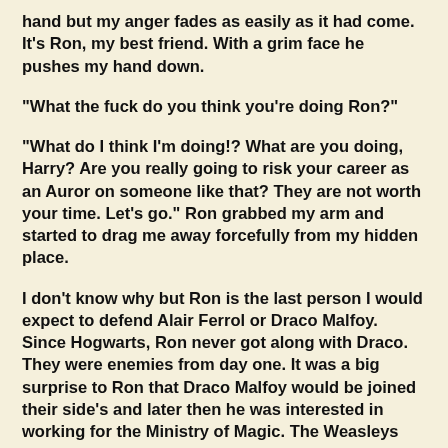hand but my anger fades as easily as it had come. It's Ron, my best friend. With a grim face he pushes my hand down.
"What the fuck do you think you're doing Ron?"
"What do I think I'm doing!? What are you doing, Harry? Are you really going to risk your career as an Auror on someone like that? They are not worth your time. Let's go." Ron grabbed my arm and started to drag me away forcefully from my hidden place.
I don't know why but Ron is the last person I would expect to defend Alair Ferrol or Draco Malfoy. Since Hogwarts, Ron never got along with Draco. They were enemies from day one. It was a big surprise to Ron that Draco Malfoy would be joined their side's and later then he was interested in working for the Ministry of Magic. The Weasleys and the Malfoys hated each other. Both families had different views on muggles. The Weasleys were fascinated with all muggle inventions, transportation, clothing, everything and anything that had to do with muggles interested the Weasleys. The Malfoys on the other hand, hated the muggles and they hated more than anything, mudbloods. Half wizard, half muggle born children. To the